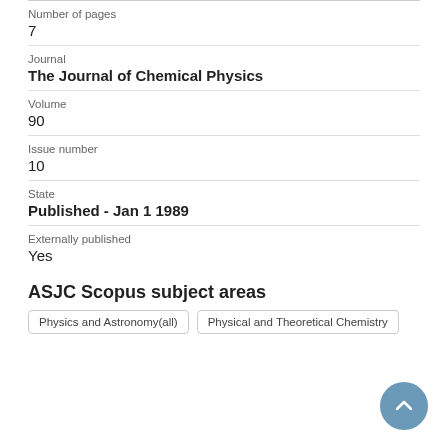Number of pages
7
Journal
The Journal of Chemical Physics
Volume
90
Issue number
10
State
Published - Jan 1 1989
Externally published
Yes
ASJC Scopus subject areas
Physics and Astronomy(all)
Physical and Theoretical Chemistry